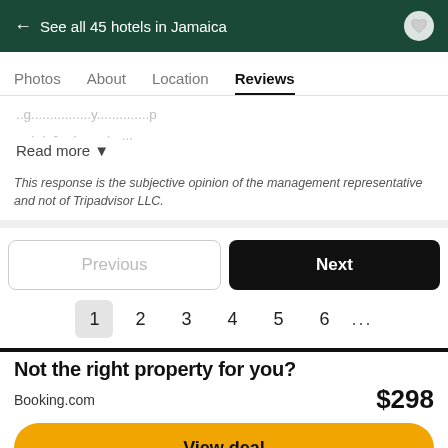← See all 45 hotels in Jamaica
Photos   About   Location   Reviews
Read more ▾
This response is the subjective opinion of the management representative and not of Tripadvisor LLC.
Previous   Next   1  2  3  4  5  6  ...
Not the right property for you?
Booking.com   $298
View deal
Special offer